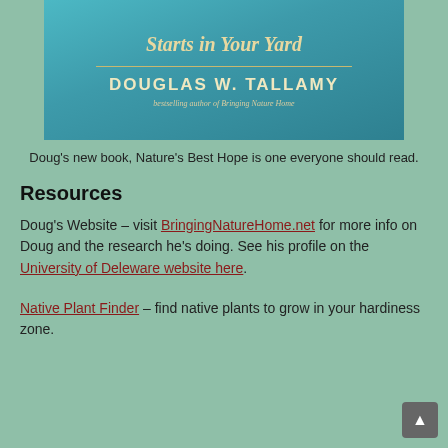[Figure (illustration): Book cover for 'Nature's Best Hope: A New Approach to Conservation that Starts in Your Yard' by Douglas W. Tallamy, bestselling author of Bringing Nature Home. Teal/blue-green gradient background with gold and cream text.]
Doug's new book, Nature's Best Hope is one everyone should read.
Resources
Doug's Website – visit BringingNatureHome.net for more info on Doug and the research he's doing. See his profile on the University of Deleware website here.
Native Plant Finder – find native plants to grow in your hardiness zone.